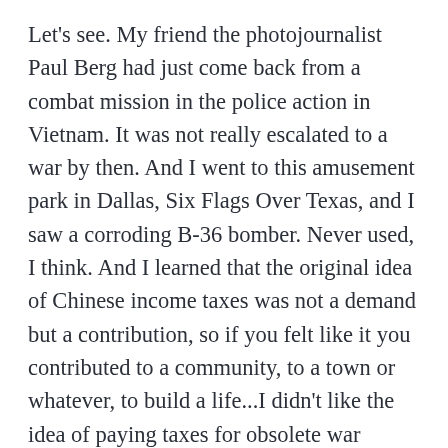Let's see. My friend the photojournalist Paul Berg had just come back from a combat mission in the police action in Vietnam. It was not really escalated to a war by then. And I went to this amusement park in Dallas, Six Flags Over Texas, and I saw a corroding B-36 bomber. Never used, I think. And I learned that the original idea of Chinese income taxes was not a demand but a contribution, so if you felt like it you contributed to a community, to a town or whatever, to build a life...I didn't like the idea of paying taxes for obsolete war weapons [like the E36 bomber]. All these things entered my mind when I started to think about [F-111]. And actually, it seems to me the right